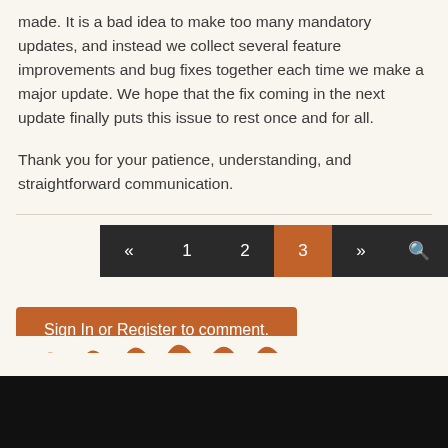made. It is a bad idea to make too many mandatory updates, and instead we collect several feature improvements and bug fixes together each time we make a major update. We hope that the fix coming in the next update finally puts this issue to rest once and for all.
Thank you for your patience, understanding, and straightforward communication.
Pagination: « 1 2 3 » [search]
Sign In or Register to comment.